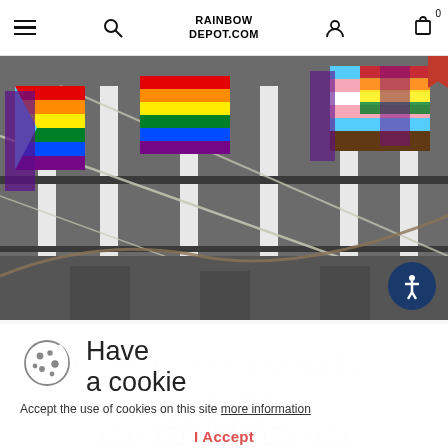RAINBOW DEPOT.COM
[Figure (photo): Photograph of rainbow pride flags hanging on a grey brick building facade with metal railings and cables, showing multiple colorful pride flags in blue, purple, teal, and rainbow colors.]
Have a cookie
Accept the use of cookies on this site more information
I Accept